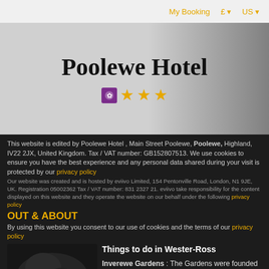My Booking  £ ▼  US ▼
Poolewe Hotel
[Figure (illustration): Hotel rating: thistle badge and 3 orange stars]
This website is edited by Poolewe Hotel , Main Street Poolewe, Poolewe, Highland, IV22 2JX, United Kingdom. Tax / VAT number: GB152807513. We use cookies to ensure you have the best experience and any personal data shared during your visit is protected by our privacy policy
Our website was created and is hosted by eviivo Limited, 154 Pentonville Road, London, N1 9JE, UK. Registration 05002362 Tax / VAT number: 831 2327 21. eviivo take responsibility for the content displayed on this website and they operate the website on our behalf under the following privacy policy
OUT & ABOUT
By using this website you consent to our use of cookies and the terms of our privacy policy
[Figure (photo): Dark atmospheric photo, appears to be an outdoor or nature scene]
Things to do in Wester-Ross
Inverewe Gardens : The Gardens were founded and
I accept
More information